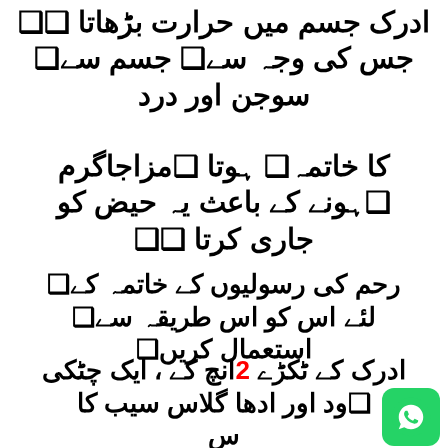ادرک جسم میں حرارت بڑھاتا ❑❑ جس کی وجہ سے❑ جسم سے❑ سوجن اور درد
کا خاتمہ❑ ہوتا ❑مزاجاگرم ❑ہونے کے باعث یہ حیض کو جاری کرتا ❑❑
رحم کی رسولیوں کے خاتمہ کے لئے اس کو اس طریقہ سے❑ استعمال کریں❑
ادرک کے ٹکڑے ، ایک چٹکی ❑ود اور ادھا گلاس سیب کا س
[Figure (logo): WhatsApp logo icon, green rounded square with white phone/speech bubble icon]